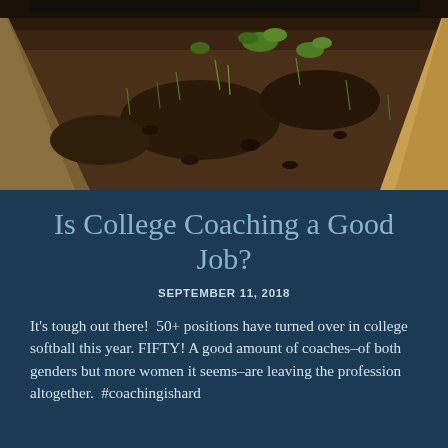[Figure (photo): A raised wooden garden bed filled with dark soil and scattered small green plants and seedlings, viewed from slightly above. The wooden frame is visible in the foreground corners and right side.]
Is College Coaching a Good Job?
SEPTEMBER 11, 2018
It’s tough out there!  50+ positions have turned over in college softball this year. FIFTY! A good amount of coaches–of both genders but more women it seems–are leaving the profession altogether.  #coachingishard